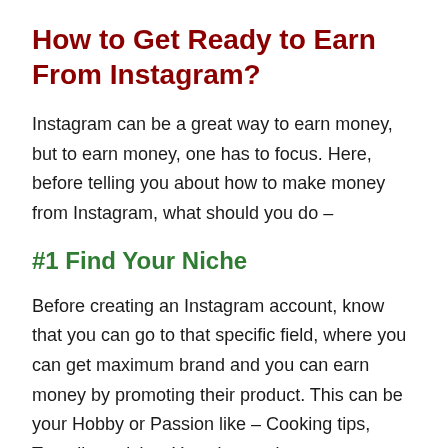How to Get Ready to Earn From Instagram?
Instagram can be a great way to earn money, but to earn money, one has to focus. Here, before telling you about how to make money from Instagram, what should you do –
#1 Find Your Niche
Before creating an Instagram account, know that you can go to that specific field, where you can get maximum brand and you can earn money by promoting their product. This can be your Hobby or Passion like – Cooking tips, Traveling advice, Yoga instruction, Photographer, Painter etc.